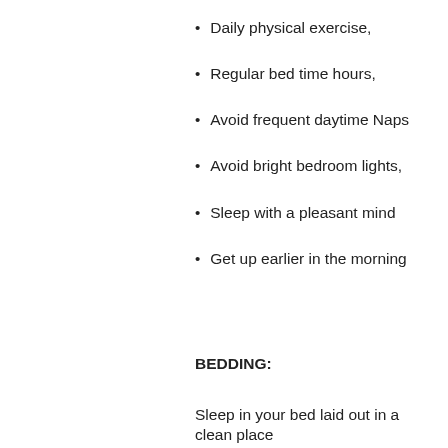Daily physical exercise,
Regular bed time hours,
Avoid frequent daytime Naps
Avoid bright bedroom lights,
Sleep with a pleasant mind
Get up earlier in the morning
BEDDING:
Sleep in your bed laid out in a clean place